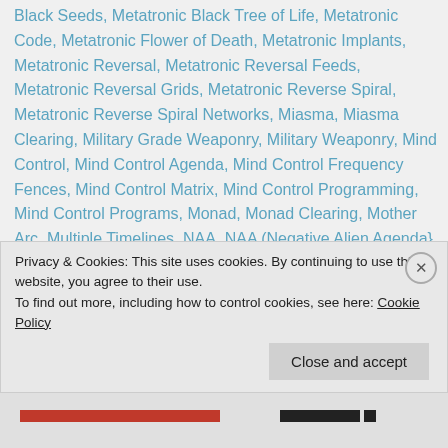Black Seeds, Metatronic Black Tree of Life, Metatronic Code, Metatronic Flower of Death, Metatronic Implants, Metatronic Reversal, Metatronic Reversal Feeds, Metatronic Reversal Grids, Metatronic Reverse Spiral, Metatronic Reverse Spiral Networks, Miasma, Miasma Clearing, Military Grade Weaponry, Military Weaponry, Mind Control, Mind Control Agenda, Mind Control Frequency Fences, Mind Control Matrix, Mind Control Programming, Mind Control Programs, Monad, Monad Clearing, Mother Arc, Multiple Timelines, NAA, NAA (Negative Alien Agenda}, NAA Artificial Intelligence, NAA False Timelines, NAA Slavery Programs, Negative Alien Agenda, Negative Alien Agenda = Galactic Federation, Negative Alien
Privacy & Cookies: This site uses cookies. By continuing to use this website, you agree to their use.
To find out more, including how to control cookies, see here: Cookie Policy
Close and accept